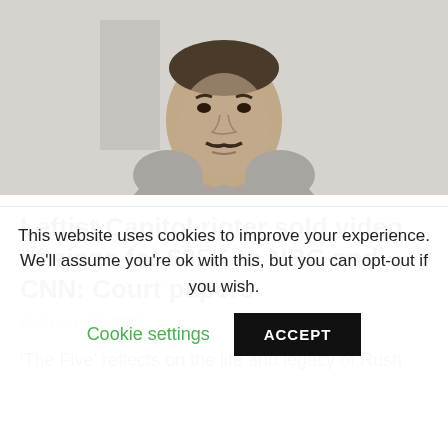[Figure (photo): Mugshot-style photo of a man with dark hair and mustache wearing a grey sleeveless shirt, shown from shoulders up against a light background]
Leftist Capitol rioter sold video of siege for $35K to NBC and CNN: Court papers
February 18, 2021
'The Five' reflects on the life and legacy of Rush
This website uses cookies to improve your experience. We'll assume you're ok with this, but you can opt-out if you wish.
Cookie settings  ACCEPT